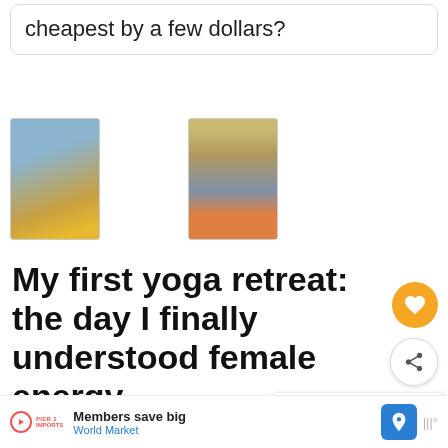cheapest by a few dollars?
[Figure (photo): View from airplane window showing wing and clouds/landscape]
[Figure (photo): Airport terminal corridor with person walking with luggage]
My first yoga retreat: the day I finally understood female energy
I know, that sounds ridiculous maybe, but here's the story: I was invited to experience th...two
Members save big World Market